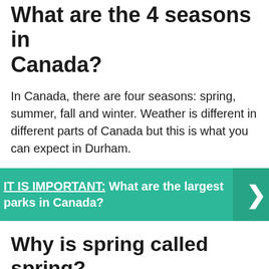What are the 4 seasons in Canada?
In Canada, there are four seasons: spring, summer, fall and winter. Weather is different in different parts of Canada but this is what you can expect in Durham.
[Figure (infographic): Teal callout box with text: IT IS IMPORTANT: What are the largest parks in Canada? with a right-arrow chevron on the right side in a darker teal panel.]
Why is spring called spring?
Unsurprisingly, the spring season gets its name from the verb “spring.” It’s a nod to the flowers and plants springing up, springing open, and bursting into blossom. …